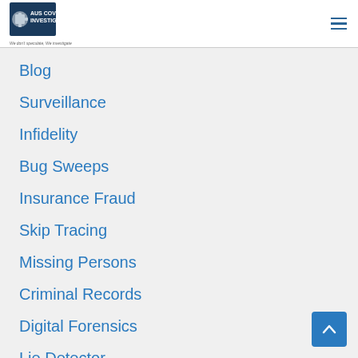[Figure (logo): Aus Covert Investigations logo with tagline 'We don't speculate, We investigate']
Blog
Surveillance
Infidelity
Bug Sweeps
Insurance Fraud
Skip Tracing
Missing Persons
Criminal Records
Digital Forensics
Lie Detector